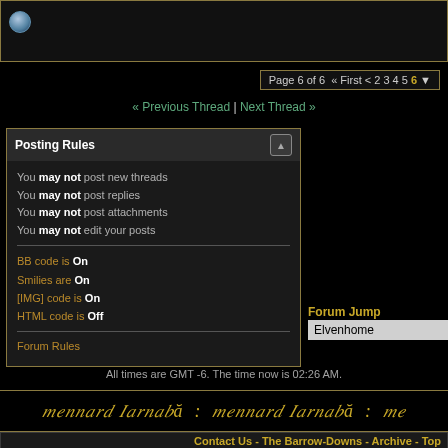[Figure (other): Top bar with a globe/sphere icon on a dark background with gold border]
Page 6 of 6  « First < 2 3 4 5 6 ▼
« Previous Thread | Next Thread »
Posting Rules
You may not post new threads
You may not post replies
You may not post attachments
You may not edit your posts
BB code is On
Smilies are On
[IMG] code is On
HTML code is Off
Forum Rules
Forum Jump
Elvenhome
All times are GMT -6. The time now is 02:26 AM.
[Figure (other): Tolkien-style decorative text banner in gold italic font on black background]
Contact Us - The Barrow-Downs - Archive - Top
Powered by vBulletin® Version 3.8.9 Beta 4
Copyright ©2000 - 2022, vBulletin Solutions, Inc.